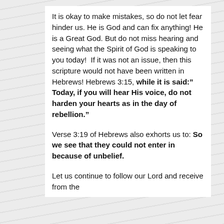It is okay to make mistakes, so do not let fear hinder us. He is God and can fix anything! He is a Great God. But do not miss hearing and seeing what the Spirit of God is speaking to you today!  If it was not an issue, then this scripture would not have been written in Hebrews! Hebrews 3:15, while it is said:” Today, if you will hear His voice, do not harden your hearts as in the day of rebellion.”
Verse 3:19 of Hebrews also exhorts us to: So we see that they could not enter in because of unbelief.
Let us continue to follow our Lord and receive from the